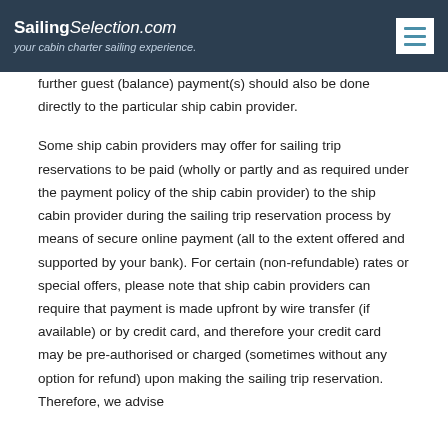SailingSelection.com — your cabin charter sailing experience.
further guest (balance) payment(s) should also be done directly to the particular ship cabin provider.

Some ship cabin providers may offer for sailing trip reservations to be paid (wholly or partly and as required under the payment policy of the ship cabin provider) to the ship cabin provider during the sailing trip reservation process by means of secure online payment (all to the extent offered and supported by your bank). For certain (non-refundable) rates or special offers, please note that ship cabin providers can require that payment is made upfront by wire transfer (if available) or by credit card, and therefore your credit card may be pre-authorised or charged (sometimes without any option for refund) upon making the sailing trip reservation. Therefore, we advise